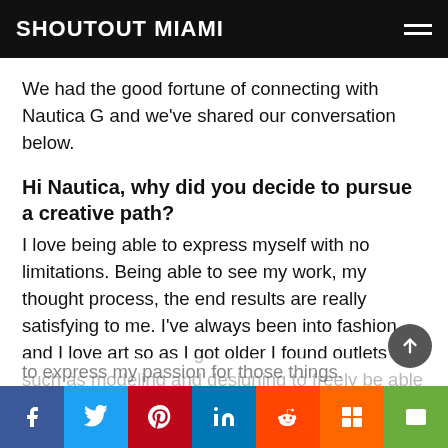SHOUTOUT MIAMI
We had the good fortune of connecting with Nautica G and we've shared our conversation below.
Hi Nautica, why did you decide to pursue a creative path?
I love being able to express myself with no limitations. Being able to see my work, my thought process, the end results are really satisfying to me. I've always been into fashion and I love art so as I got older I found outlets such as modeling and designing to freely be able to express my passion for those things.